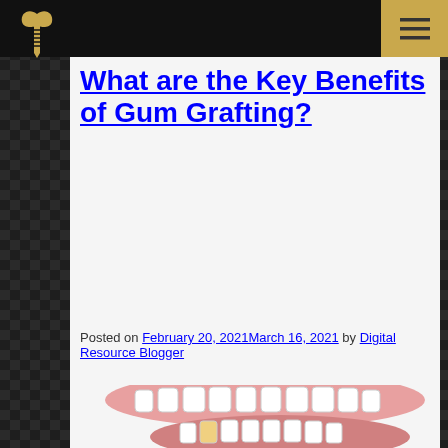[Figure (logo): Dental implant logo icon in gold color on dark background — a tooth shape with implant screw]
[Figure (other): Hamburger/menu icon (three horizontal lines) on gold/tan background square in top right corner]
What are the Key Benefits of Gum Grafting?
Posted on February 20, 2021March 16, 2021 by Digital Resource Blogger
[Figure (illustration): Medical illustration of lower jaw / dental arch showing teeth and gums with gum recession, split open view showing upper and lower teeth with pink gum tissue and exposed tooth roots]